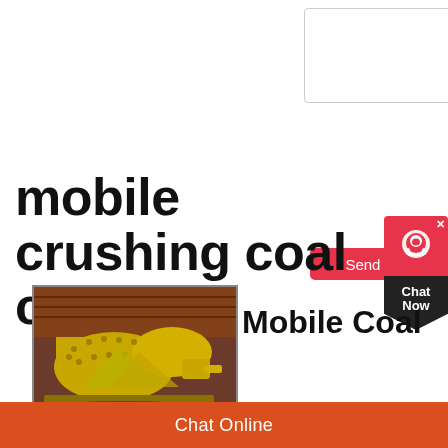[Figure (screenshot): Text input textarea box with resize handle in bottom right corner]
[Figure (screenshot): Red 'Send Now' button]
[Figure (screenshot): Chat Now widget on right side: red top with headset icon and X close button, dark pentagon bottom with 'Chat Now' text]
mobile crushing coal crusher
Mobile Coal
[Figure (photo): Industrial ball mill / coal crusher machine in yellow color inside a warehouse]
Chat Online